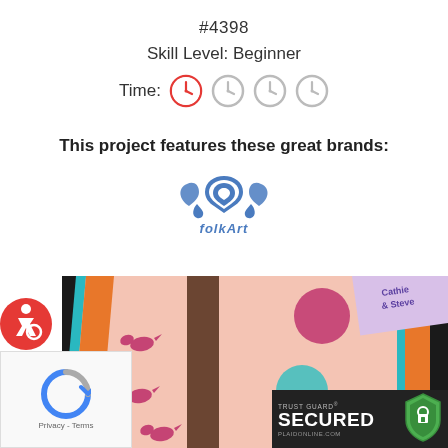#4398
Skill Level: Beginner
Time: [clock icons - 1 of 4 filled]
This project features these great brands:
[Figure (logo): FolkArt brand logo in blue]
[Figure (photo): Colorful striped fabric with polka dots and pink bird stencils, with orange and teal stripes on pink fabric. Corner shows 'Cathie & Steve' label.]
[Figure (logo): Accessibility icon - wheelchair user on red circle]
[Figure (logo): reCAPTCHA badge with Privacy - Terms text]
[Figure (logo): Trust Guard Secured badge - PLAIDONLINE.COM]